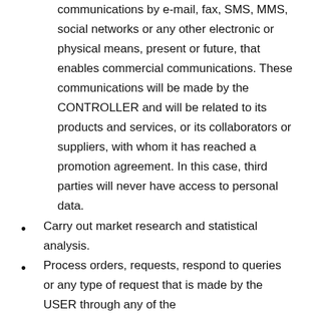communications by e-mail, fax, SMS, MMS, social networks or any other electronic or physical means, present or future, that enables commercial communications. These communications will be made by the CONTROLLER and will be related to its products and services, or its collaborators or suppliers, with whom it has reached a promotion agreement. In this case, third parties will never have access to personal data.
Carry out market research and statistical analysis.
Process orders, requests, respond to queries or any type of request that is made by the USER through any of the